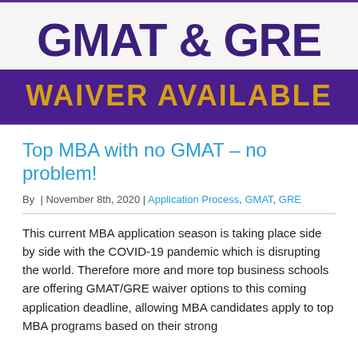[Figure (illustration): Banner graphic with 'GMAT & GRE' in large bold dark purple text on light gray background with purple border lines, and a dark purple ribbon banner below containing 'WAIVER AVAILABLE' in gold/yellow bold text.]
Top MBA with no GMAT – no problem!
By  | November 8th, 2020 | Application Process, GMAT, GRE
This current MBA application season is taking place side by side with the COVID-19 pandemic which is disrupting the world. Therefore more and more top business schools are offering GMAT/GRE waiver options to this coming application deadline, allowing MBA candidates apply to top MBA programs based on their strong